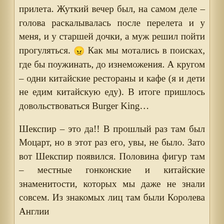прилета. Жуткий вечер был, на самом деле – голова раскалывалась после перелета и у меня, и у старшей дочки, а муж решил пойти прогуляться. 😠 Как мы мотались в поисках, где бы поужинать, до изнеможения. А кругом – одни китайские рестораны и кафе (я и дети не едим китайскую еду). В итоге пришлось довольствоваться Burger King…
Шекспир – это да!! В прошлый раз там был Моцарт, но в этот раз его, увы, не было. Зато вот Шекспир появился. Половина фигур там – местные гонконские и китайские знаменитости, которых мы даже не знали совсем. Из знакомых лиц там были Королева Англии